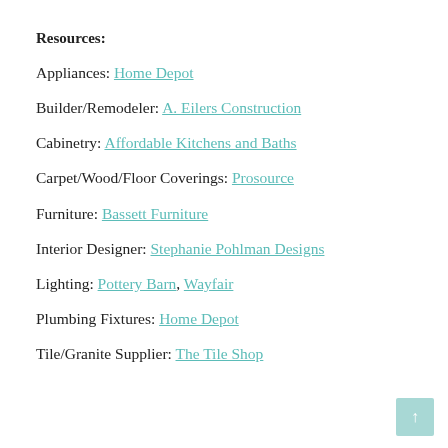Resources:
Appliances: Home Depot
Builder/Remodeler: A. Eilers Construction
Cabinetry: Affordable Kitchens and Baths
Carpet/Wood/Floor Coverings: Prosource
Furniture: Bassett Furniture
Interior Designer: Stephanie Pohlman Designs
Lighting: Pottery Barn, Wayfair
Plumbing Fixtures: Home Depot
Tile/Granite Supplier: The Tile Shop